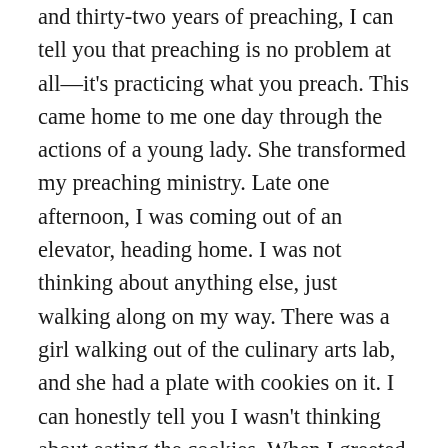and thirty-two years of preaching, I can tell you that preaching is no problem at all—it's practicing what you preach. This came home to me one day through the actions of a young lady. She transformed my preaching ministry. Late one afternoon, I was coming out of an elevator, heading home. I was not thinking about anything else, just walking along on my way. There was a girl walking out of the culinary arts lab, and she had a plate with cookies on it. I can honestly tell you I wasn't thinking about eating the cookies. When I greeted her, she immediatly became nervous and attempted to hide the plate of cookies